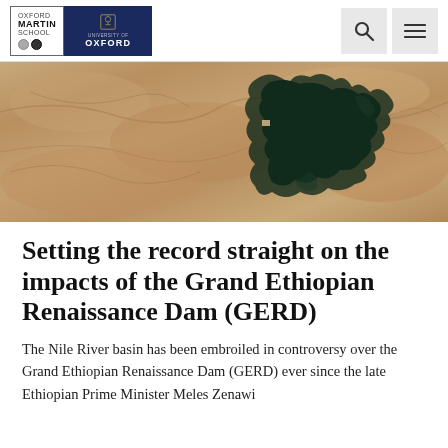Oxford Martin School | University of Oxford
[Figure (photo): Satellite aerial photograph of the Grand Ethiopian Renaissance Dam (GERD) reservoir area, showing dark blue-green water body surrounded by arid brown terrain.]
Setting the record straight on the impacts of the Grand Ethiopian Renaissance Dam (GERD)
The Nile River basin has been embroiled in controversy over the Grand Ethiopian Renaissance Dam (GERD) ever since the late Ethiopian Prime Minister Meles Zenawi